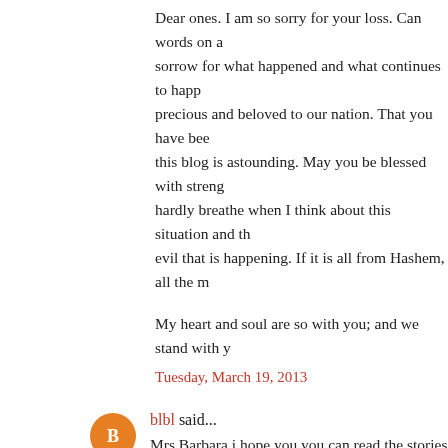Dear ones. I am so sorry for your loss. Can words on a... sorrow for what happened and what continues to happ... precious and beloved to our nation. That you have bee... this blog is astounding. May you be blessed with streng... hardly breathe when I think about this situation and th... evil that is happening. If it is all from Hashem, all the m...
My heart and soul are so with you; and we stand with y...
Tuesday, March 19, 2013
blbl said...
Mrs Barbara i hope you you can read the stories of Nab... one off the videos witch uploaded on YouTube on (BILA... weekly demonstration and you are welcome to Nabi Sa... daily life
Tuesday, March 19, 2013
Anonymous said...
I am so sorry for your loss and encourage you to keep o... cannot help but think that the Palestinians agree that 1... (and not greater than) the value of one Jewish life.